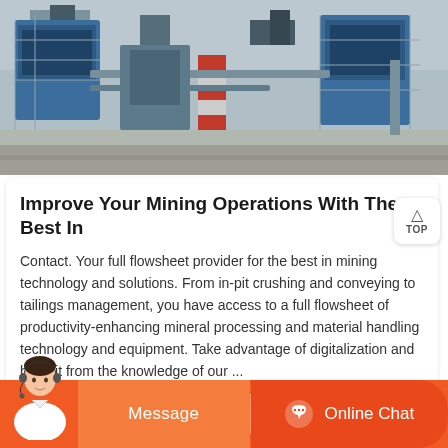[Figure (photo): Aerial/ground-level photo of an industrial mining/crushing facility with large blue machinery, scaffolding, conveyor systems, and concrete structures under a cloudy sky.]
Improve Your Mining Operations With The Best In
Contact. Your full flowsheet provider for the best in mining technology and solutions. From in-pit crushing and conveying to tailings management, you have access to a full flowsheet of productivity-enhancing mineral processing and material handling technology and equipment. Take advantage of digitalization and benefit from the knowledge of our ...
[Figure (other): Bottom orange bar with a customer service agent avatar, 'Message' button, and 'Online Chat' button with headset icon.]